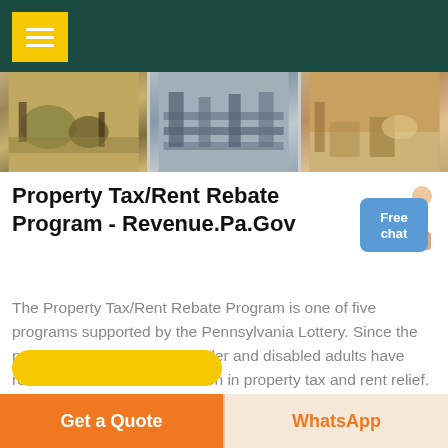[Figure (photo): Three industrial facility photos side by side: machinery/equipment in an industrial plant, conveyor/processing equipment, and workers at a processing site.]
Property Tax/Rent Rebate Program - Revenue.Pa.Gov
[Figure (illustration): Person (customer service representative) figure with Free chat button]
The Property Tax/Rent Rebate Program is one of five programs supported by the Pennsylvania Lottery. Since the program's 1971 inception, older and disabled adults have received more than $6.9 billion in property tax and rent relief. The rebate program also receives funding from slots gaming.
Get a Quote   WhatsApp